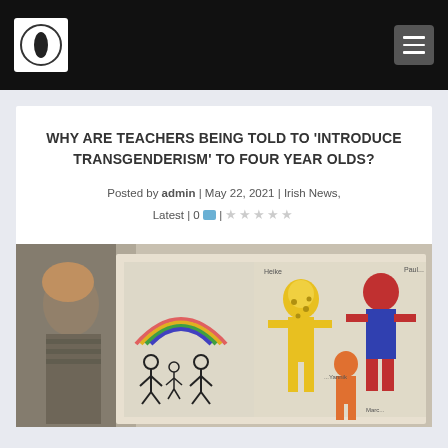Site header with logo and navigation menu
WHY ARE TEACHERS BEING TOLD TO ‘INTRODUCE TRANSGENDERISM’ TO FOUR YEAR OLDS?
Posted by admin | May 22, 2021 | Irish News, Latest | 0 💬 |
[Figure (photo): A person looking at children's drawings showing stick figures, a rainbow, and colourful painted figures of people on a board.]